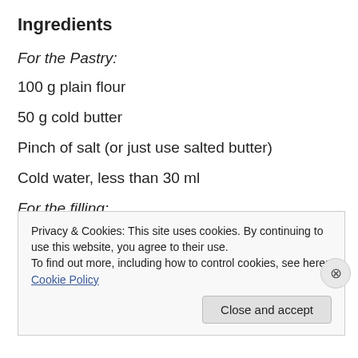Ingredients
For the Pastry:
100 g plain flour
50 g cold butter
Pinch of salt (or just use salted butter)
Cold water, less than 30 ml
For the filling:
Privacy & Cookies: This site uses cookies. By continuing to use this website, you agree to their use. To find out more, including how to control cookies, see here: Cookie Policy